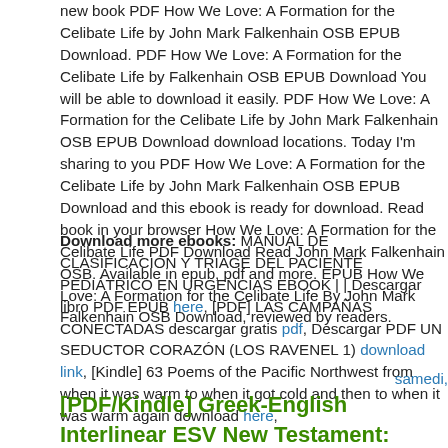new book PDF How We Love: A Formation for the Celibate Life by John Mark Falkenhain OSB EPUB Download. PDF How We Love: A Formation for the Celibate Life by Falkenhain OSB EPUB Download You will be able to download it easily. PDF How We Love: A Formation for the Celibate Life by John Mark Falkenhain OSB EPUB Download download locations. Today I'm sharing to you PDF How We Love: A Formation for the Celibate Life by John Mark Falkenhain OSB EPUB Download and this ebook is ready for download. Read book in your browser How We Love: A Formation for the Celibate Life PDF Download Read John Mark Falkenhain OSB. Available in epub, pdf and more. EPUB How We Love: A Formation for the Celibate Life By John Mark Falkenhain OSB Download, reviewed by readers.
Download more ebooks: MANUAL DE CLASIFICACIÓN Y TRIAGE DEL PACIENTE PEDIÁTRICO EN URGENCIAS EBOOK | | Descargar libro PDF EPUB here, [PDF] LAS CAMPAÑAS CONECTADAS descargar gratis pdf, Descargar PDF UN SEDUCTOR CORAZÓN (LOS RAVENEL 1) download link, [Kindle] 63 Poems of the Pacific Northwest from when it was warm to when it got cold and then to when it was warm again download here,
samedi,
[PDF/Kindle] Greek-English Interlinear ESV New Testament: Nestle-Aland Novum Testamentum Graece (NA28) and English Standard Versio... [PDF]...